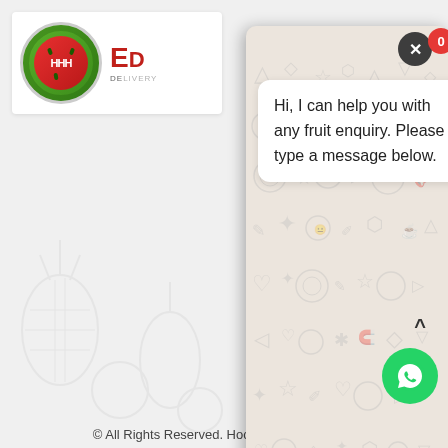[Figure (screenshot): Website screenshot showing a fruit delivery company (Hock Hoe Hin / HHH) header with watermelon logo, partially visible CAPTCHA checkbox labeled 'I'm n...', a SEND button in crimson red, and a WhatsApp chat popup overlay with decorative emoji pattern background, a white chat bubble saying 'Hi, I can help you with any fruit enquiry. Please type a message below.', a message input bar with a green send button, a close (X) button, a red notification badge showing '0', and a green WhatsApp floating button at bottom right.]
Hi, I can help you with any fruit enquiry. Please type a message below.
I'm n
SEN
© All Rights Reserved. Hock Hoe Hin Pte Ltd.